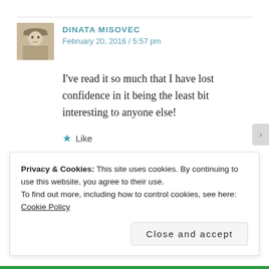DINATA MISOVEC
February 20, 2016 / 5:57 pm
I've read it so much that I have lost confidence in it being the least bit interesting to anyone else!
★ Like
Privacy & Cookies: This site uses cookies. By continuing to use this website, you agree to their use.
To find out more, including how to control cookies, see here: Cookie Policy
Close and accept